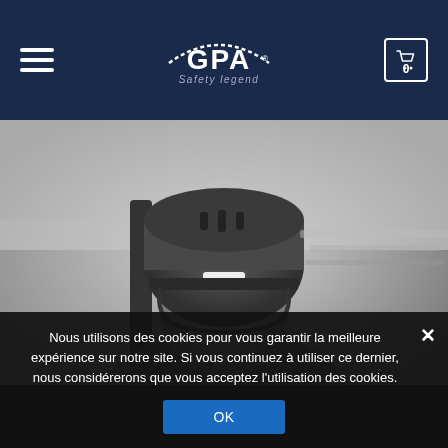GPA Safety Legend — navigation bar with hamburger menu and cart icon (0)
[Figure (photo): Black and white photograph of a young equestrian rider wearing a GPA branded equestrian helmet, smiling, with riding crop visible]
Nous utilisons des cookies pour vous garantir la meilleure expérience sur notre site. Si vous continuez à utiliser ce dernier, nous considérerons que vous acceptez l'utilisation des cookies.
OK